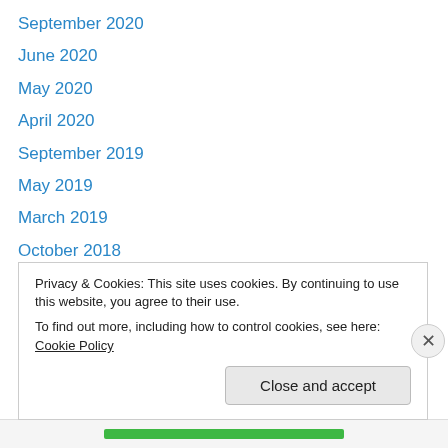September 2020
June 2020
May 2020
April 2020
September 2019
May 2019
March 2019
October 2018
August 2018
June 2018
May 2018
April 2018
September 2017
Privacy & Cookies: This site uses cookies. By continuing to use this website, you agree to their use.
To find out more, including how to control cookies, see here: Cookie Policy